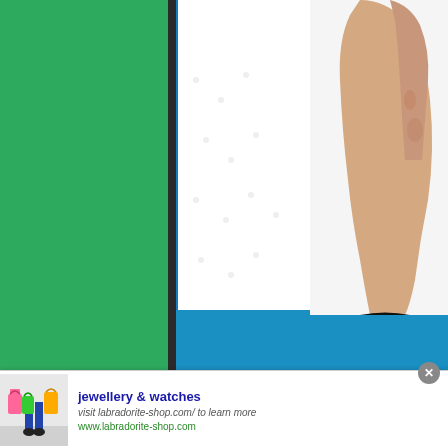[Figure (screenshot): Screenshot of a webpage showing a green sidebar on the left, a white content area with a partial image of a raised hand/wrist on white background, a blue bar across the bottom of the image area, an infolinks branded overlay bar in the bottom-left of the sidebar, a close button, and an ad banner at the bottom for jewellery & watches from labradorite-shop.com with a shopping image.]
infolinks
jewellery & watches
visit labradorite-shop.com/ to learn more
www.labradorite-shop.com